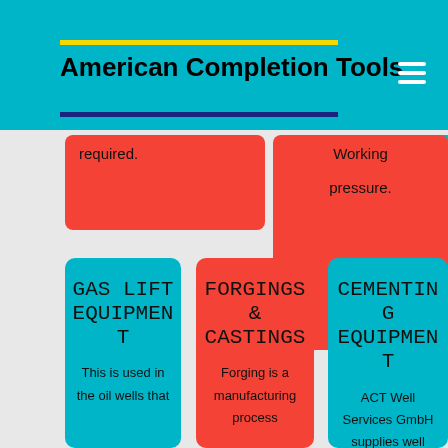American Completion Tools
required.
Working pressure.
GAS LIFT EQUIPMENT
This is used in the oil wells that
FORGINGS & CASTINGS
Forging is a manufacturing process
CEMENTING EQUIPMENT
ACT Well Services GmbH supplies well